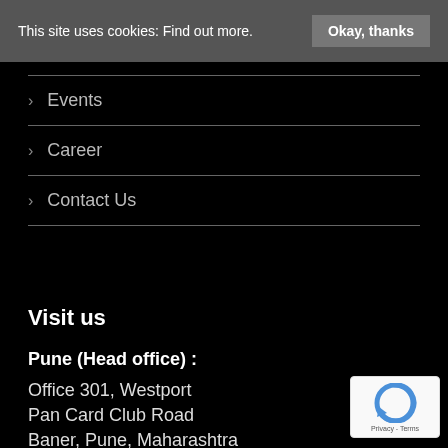This site uses cookies: Find out more.  Okay, thanks
Events
Career
Contact Us
Visit us
Pune (Head office) :
Office 301, Westport
Pan Card Club Road
Baner, Pune, Maharashtra
[Figure (logo): reCAPTCHA logo with Privacy and Terms text]